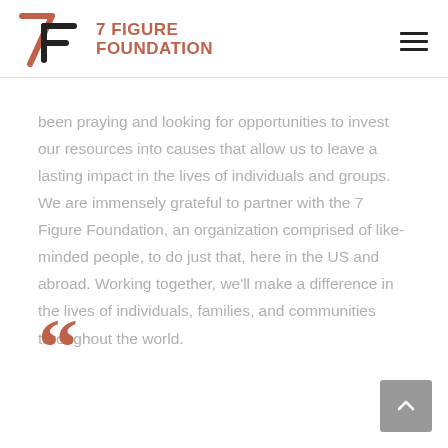7 FIGURE FOUNDATION
been praying and looking for opportunities to invest our resources into causes that allow us to leave a lasting impact in the lives of individuals and groups. We are immensely grateful to partner with the 7 Figure Foundation, an organization comprised of like-minded people, to do just that, here in the US and abroad. Working together, we’ll make a difference in the lives of individuals, families, and communities throughout the world.